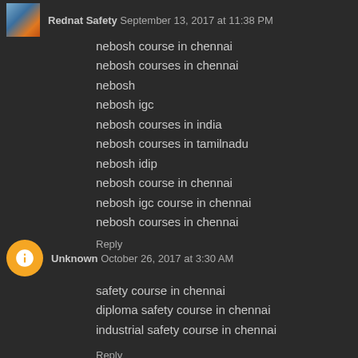Rednat Safety  September 13, 2017 at 11:38 PM
nebosh course in chennai
nebosh courses in chennai
nebosh
nebosh igc
nebosh courses in india
nebosh courses in tamilnadu
nebosh idip
nebosh course in chennai
nebosh igc course in chennai
nebosh courses in chennai
Reply
Unknown  October 26, 2017 at 3:30 AM
safety course in chennai
diploma safety course in chennai
industrial safety course in chennai
Reply